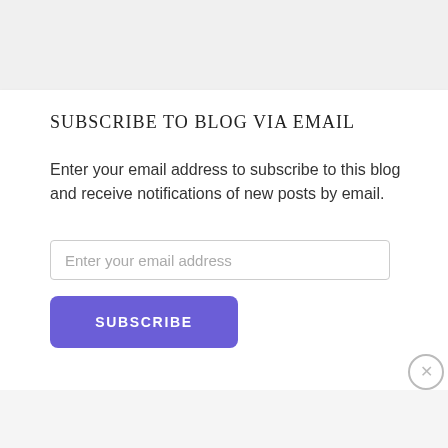SUBSCRIBE TO BLOG VIA EMAIL
Enter your email address to subscribe to this blog and receive notifications of new posts by email.
Enter your email address
SUBSCRIBE
Advertisements
The Platform Where WordPress Works Best  Pressable